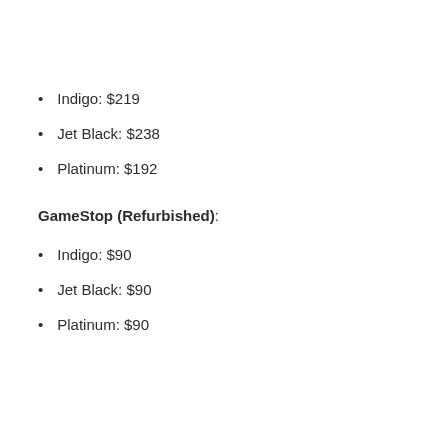Indigo: $219
Jet Black: $238
Platinum: $192
GameStop (Refurbished):
Indigo: $90
Jet Black: $90
Platinum: $90